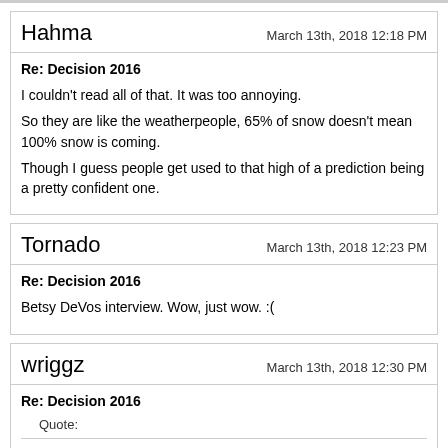Hahma
March 13th, 2018 12:18 PM
Re: Decision 2016
I couldn't read all of that. It was too annoying.
So they are like the weatherpeople, 65% of snow doesn't mean 100% snow is coming.
Though I guess people get used to that high of a prediction being a pretty confident one.
Tornado
March 13th, 2018 12:23 PM
Re: Decision 2016
Betsy DeVos interview. Wow, just wow. :(
wriggz
March 13th, 2018 12:30 PM
Re: Decision 2016
Quote: